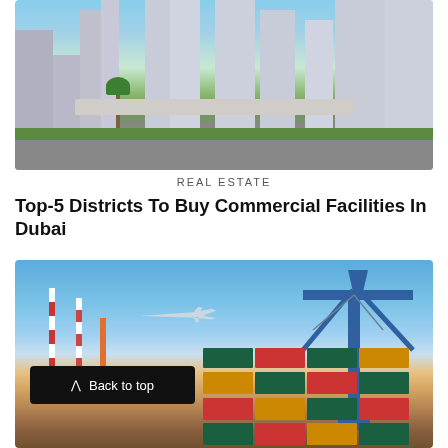[Figure (photo): Dubai skyline with skyscrapers, palm trees, green strip, overpass, and road in foreground]
REAL ESTATE
Top-5 Districts To Buy Commercial Facilities In Dubai
[Figure (photo): Port/logistics scene with cranes, shipping containers, chimney stacks, and airplane in sky]
Back to top